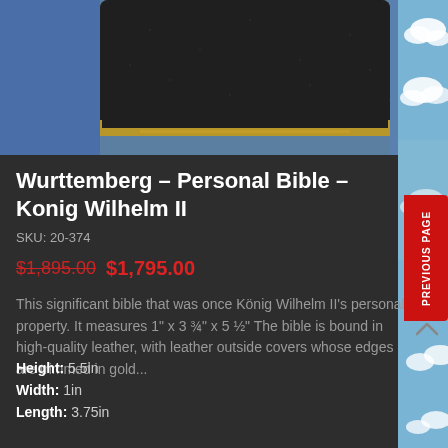[Figure (photo): Photo of the Wurttemberg personal bible with dark leather cover and gold trim edges, partially visible at top of page]
Wurttemberg – Personal Bible – Konig Wilhelm II
SKU: 20-374
$1,895.00 $1,795.00
This significant bible that was once König Wilhelm II's personal property. It measures 1" x 3 ¾" x 5 ½" The bible is bound in high-quality leather, with leather outside covers whose edges are trimmed in gold...
Height: 5.5in
Width: 1in
Length: 3.75in